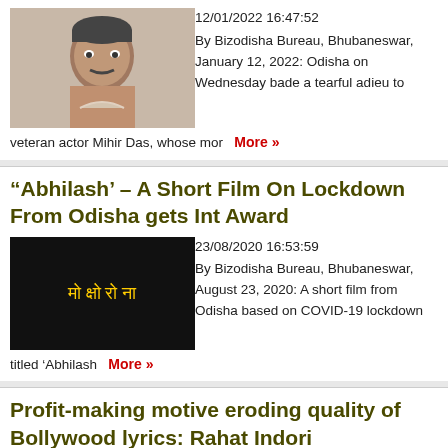[Figure (photo): Portrait photo of veteran actor Mihir Das]
12/01/2022 16:47:52
By Bizodisha Bureau, Bhubaneswar,
January 12, 2022: Odisha on Wednesday bade a tearful adieu to veteran actor Mihir Das, whose mor   More »
“Abhilash’ – A Short Film On Lockdown From Odisha gets Int Award
[Figure (photo): Dark movie still from Abhilash short film with Hindi text overlay]
23/08/2020 16:53:59
By Bizodisha Bureau, Bhubaneswar,
August 23, 2020: A short film from Odisha based on COVID-19 lockdown titled ‘Abhilash   More »
Profit-making motive eroding quality of Bollywood lyrics: Rahat Indori
[Figure (photo): Blank/white placeholder thumbnail image]
12/06/2018 17:24:41
By Bizodisha Bureau, Bhubaneswar,
June 11, 2018: Profit-making motive has become priority of movie makers as